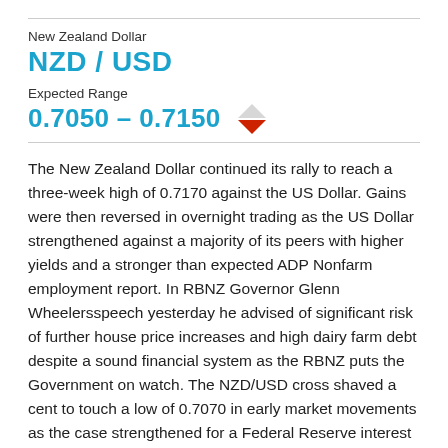New Zealand Dollar
NZD / USD
Expected Range
0.7050 – 0.7150
The New Zealand Dollar continued its rally to reach a three-week high of 0.7170 against the US Dollar. Gains were then reversed in overnight trading as the US Dollar strengthened against a majority of its peers with higher yields and a stronger than expected ADP Nonfarm employment report. In RBNZ Governor Glenn Wheelersspeech yesterday he advised of significant risk of further house price increases and high dairy farm debt despite a sound financial system as the RBNZ puts the Government on watch. The NZD/USD cross shaved a cent to touch a low of 0.7070 in early market movements as the case strengthened for a Federal Reserve interest rate hike